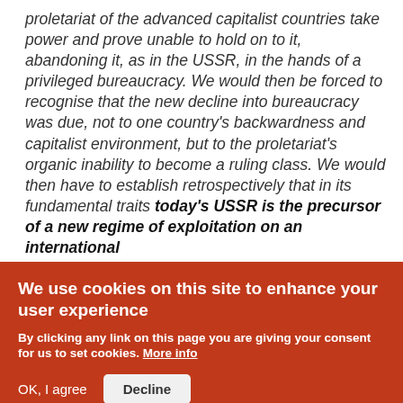proletariat of the advanced capitalist countries take power and prove unable to hold on to it, abandoning it, as in the USSR, in the hands of a privileged bureaucracy. We would then be forced to recognise that the new decline into bureaucracy was due, not to one country's backwardness and capitalist environment, but to the proletariat's organic inability to become a ruling class. We would then have to establish retrospectively that in its fundamental traits today's USSR is the precursor of a new regime of exploitation on an international
We use cookies on this site to enhance your user experience
By clicking any link on this page you are giving your consent for us to set cookies. More info
OK, I agree  Decline